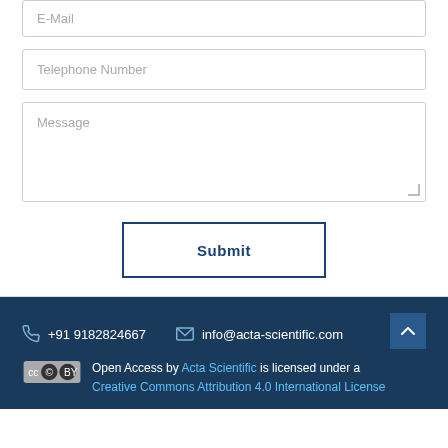E-Mail
Telephone Number
Message
Submit
+91 9182824667
info@acta-scientific.com
Open Access by Acta Scientific is licensed under a Creative Commons Attribution 4.0 International License
Creative Commons Attribution 4.0 International License